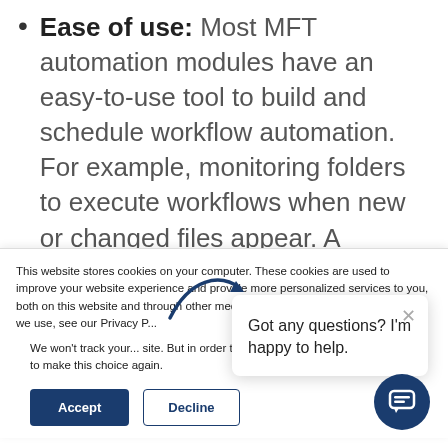Ease of use: Most MFT automation modules have an easy-to-use tool to build and schedule workflow automation. For example, monitoring folders to execute workflows when new or changed files appear. A scheduler allows you to set specific times to execute workflows...
This website stores cookies on your computer. These cookies are used to improve your website experience and provide more personalized services to you, both on this website and through other media. To find out more about the cookies we use, see our Privacy P...
We won't track your... site. But in order to c... we'll have to use jus... not asked to make this choice again.
Got any questions? I'm happy to help.